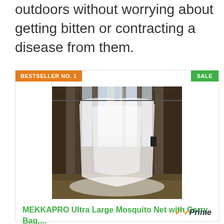outdoors without worrying about getting bitten or contracting a disease from them.
[Figure (screenshot): Product card showing a mosquito net hanging between trees in a forest. Card has an orange 'BESTSELLER NO. 1' badge top-left and a green 'SALE' badge top-right. Below the image is the product title in green text 'MEKKAPRO Ultra Large Mosquito Net with Carry Bag,...' and an Amazon Prime badge at the bottom right.]